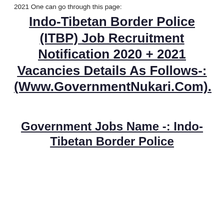2021 One can go through this page:
Indo-Tibetan Border Police (ITBP) Job Recruitment Notification 2020 + 2021 Vacancies Details As Follows-: (Www.GovernmentNukari.Com).
Government Jobs Name -: Indo-Tibetan Border Police